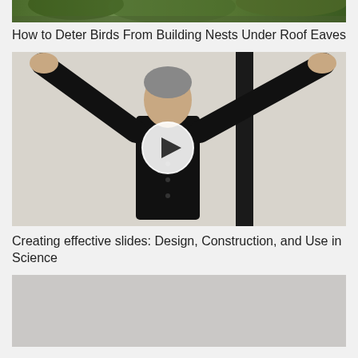[Figure (photo): Partial top image showing greenery/trees, cropped at top of page]
How to Deter Birds From Building Nests Under Roof Eaves
[Figure (photo): Video thumbnail showing a man in black shirt with arms raised, with a play button overlay. There is a vertical dark bar on the right side of the image.]
Creating effective slides: Design, Construction, and Use in Science
[Figure (photo): Partially visible image at bottom, showing a light gray/silver colored surface, cropped at bottom of page]